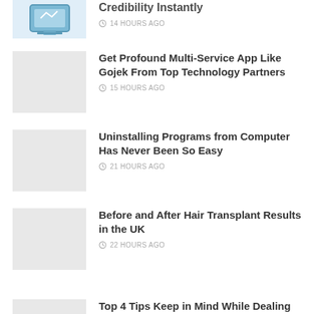Credibility Instantly — 14 HOURS AGO
Get Profound Multi-Service App Like Gojek From Top Technology Partners — 15 HOURS AGO
Uninstalling Programs from Computer Has Never Been So Easy — 21 HOURS AGO
Before and After Hair Transplant Results in the UK — 22 HOURS AGO
Top 4 Tips Keep in Mind While Dealing with The Property Selling — 9 MONTHS AGO
Ways to Calculate a Fair Rent Price